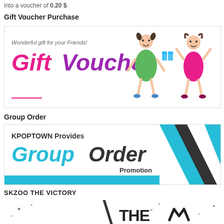into a voucher of 0.20 $.
Gift Voucher Purchase
[Figure (illustration): Gift voucher promotional banner with text 'Wonderful gift for your Friends!' and large colorful text 'Gift Voucher' in pink/purple italic font, with cartoon illustration of two girls on the right side.]
Group Order
[Figure (illustration): KPOPTOWN Group Order Promotion banner with teal and black diagonal stripe graphics on the right, text 'KPOPTOWN Provides Group Order Promotion' with teal bar at bottom.]
SKZOO THE VICTORY
[Figure (illustration): Partial image showing 'THE' text in stylized black graffiti/crown style lettering with ink splatter effects at the bottom of the page.]